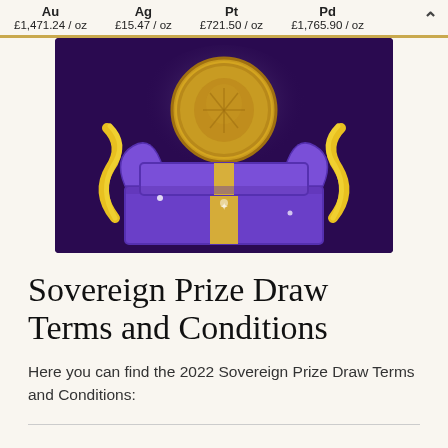Au £1,471.24/oz   Ag £15.47/oz   Pt £721.50/oz   Pd £1,765.90/oz
[Figure (illustration): A gold sovereign coin leaping out of an open purple gift box with yellow ribbon and golden bow, on a dark purple background with sparkle effects.]
Sovereign Prize Draw Terms and Conditions
Here you can find the 2022 Sovereign Prize Draw Terms and Conditions: